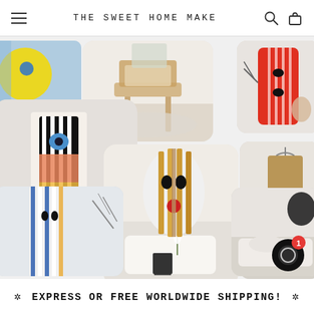THE SWEET HOME MAKE
[Figure (screenshot): Website screenshot showing a home decor e-commerce site 'The Sweet Home Make' with a grid of product lifestyle photos featuring decorative wall art masks and home interiors]
* EXPRESS OR FREE WORLDWIDE SHIPPING! *